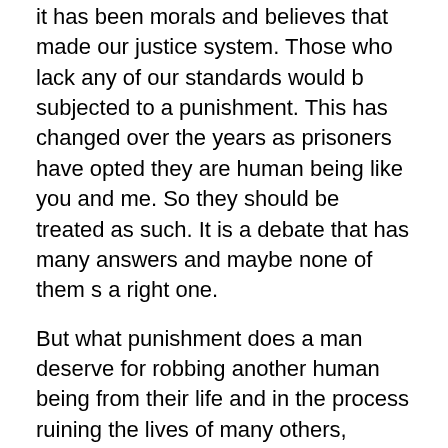it has been morals and believes that made our justice system. Those who lack any of our standards would b subjected to a punishment. This has changed over the years as prisoners have opted they are human being like you and me. So they should be treated as such. It is a debate that has many answers and maybe none of them s a right one.
But what punishment does a man deserve for robbing another human being from their life and in the process ruining the lives of many others, Friends and family not to mention your own family if there was any contact. It would be unjust to think they would have the same rights as us who live free and work hard to have even a little extra or a little more privileges.
In ancient times prisoners were thrown in front of some